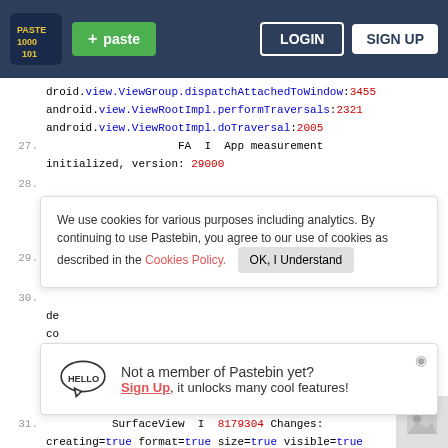[Figure (screenshot): Pastebin website header with logo, + paste button, LOGIN and SIGN UP buttons on dark navy background]
droid.view.ViewGroup.dispatchAttachedToWindow:3455
android.view.ViewRootImpl.performTraversals:2321
android.view.ViewRootImpl.doTraversal:2005
27.                          FA  I  App measurement initialized, version: 29000
28.
lo
We use cookies for various purposes including analytics. By continuing to use Pastebin, you agree to our use of cookies as described in the Cookies Policy. OK, I Understand
29.
mo
30.
de
co
Not a member of Pastebin yet? Sign Up, it unlocks many cool features!
31.          SurfaceView  I  8179304 Changes: creating=true format=true size=true visible=true left=true top=true
32.                        I  8179304
mSurfaceControl 260225002 mBackgroundControl